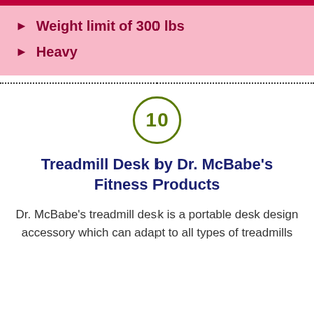Weight limit of 300 lbs
Heavy
[Figure (other): Circled number 10 in olive/dark green outline]
Treadmill Desk by Dr. McBabe's Fitness Products
Dr. McBabe's treadmill desk is a portable desk design accessory which can adapt to all types of treadmills